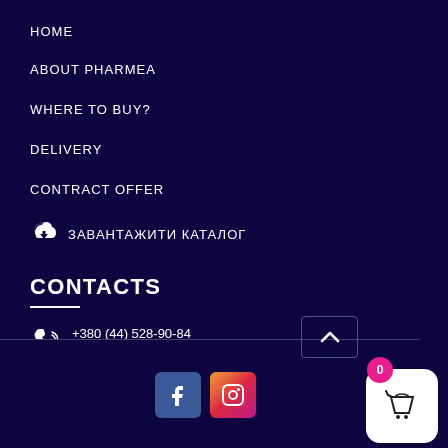HOME
ABOUT PHARMEA
WHERE TO BUY?
DELIVERY
CONTRACT OFFER
ЗАВАНТАЖИТИ КАТАЛОГ
CONTACTS
+380 (44) 528-90-84
Ukraine, Kyiv reg., Roslavychy v., Hohol str., 15a
[Figure (other): Facebook and Instagram social media buttons at bottom; shopping cart widget with badge showing 0; scroll-to-top arrow button]